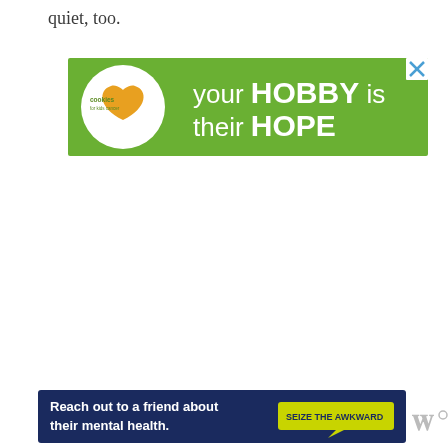quiet, too.
[Figure (infographic): Advertisement banner for 'Cookies for Kids Cancer' with green background, showing hands holding a heart-shaped cookie, white circle logo on the left, and text 'your HOBBY is their HOPE' in white. A close X button is in the top-right corner.]
[Figure (infographic): Advertisement banner with dark blue background reading 'Reach out to a friend about their mental health.' with a yellow/green 'SEIZE THE AWKWARD' speech-bubble logo on the right side.]